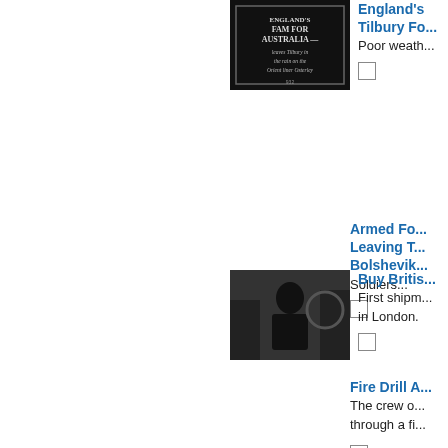[Figure (photo): Black and white film still with text: ENGLAND'S FAM FOR AUSTRALIA — leaves Tilbury in the rain on the Orient liner Osterley]
England's Tilbury Fo...
Poor weath...
Armed Fo... Leaving T... Bolshevik...
Soldiers...
[Figure (photo): Black and white photo of a man in a suit speaking or presenting]
Buy Britis...
First shipm... in London.
Fire Drill A...
The crew o... through a fi...